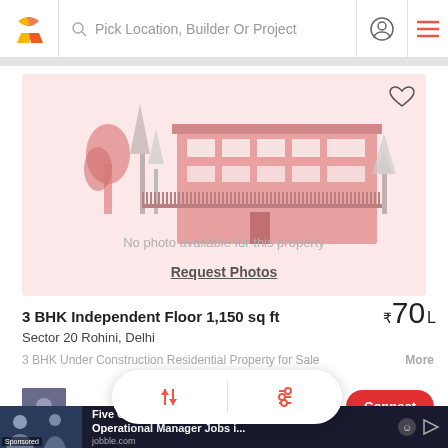Pick Location, Builder Or Project
[Figure (illustration): Property listing placeholder image showing a pink/rose colored building with trees. Text overlay: 'No photo available for this property' and 'Request Photos']
3 BHK Independent Floor 1,150 sq ft
₹70 L
Sector 20 Rohini, Delhi
3 BHK Under Construction Residential Property for Sale in S...
More
Jagdamba Asso...
Connect
[Figure (screenshot): Job advertisement: Five Guys General Operational Manager Jobs i... from jobble.com. Labeled Sponsored.]